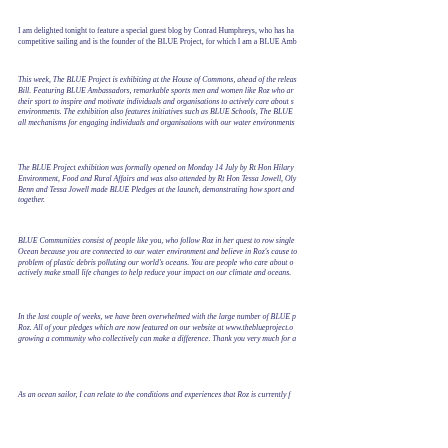I am delighted tonight to feature a special guest blog by Conrad Humphreys, who has ha... competitive sailing and is the founder of the BLUE Project, for which I am a BLUE Amb...
This week, The BLUE Project is exhibiting at the House of Commons, ahead of the releas... Bill. Featuring BLUE Ambassadors, remarkable sports men and women like Roz who ar... their sport to inspire and motivate individuals and organisations to actively care about s... environments. The exhibition also features initiatives such as BLUE Schools, The BLUE ... all mechanisms for engaging individuals and organisations with our water environments...
The BLUE Project exhibition was formally opened on Monday 14 July by Rt Hon Hilary... Environment, Food and Rural Affairs and was also attended by Rt Hon Tessa Jowell, Oly... Benn and Tessa Jowell made BLUE Pledges at the launch, demonstrating how sport and... together.
BLUE Communities consist of people like you, who follow Roz in her quest to row single... Ocean because you are connected to our water environment and believe in Roz's cause to... problem of plastic debris polluting our world's oceans. You are people who care about o... actively make small life changes to help reduce your impact on our climate and oceans.
In the last couple of weeks, we have been overwhelmed with the large number of BLUE p... Roz. All of your pledges which are now featured on our website at www.theblueproject.o... growing a community who collectively can make a difference. Thank you very much for a...
As an ocean sailor, I can relate to the conditions and experiences that Roz is currently f...